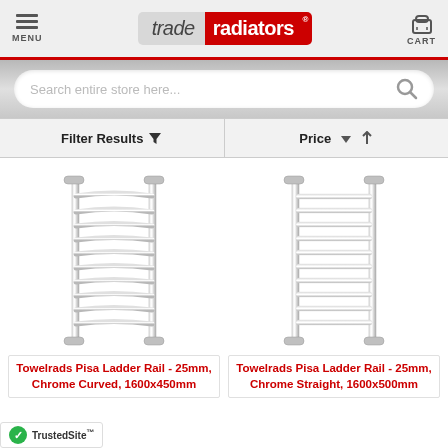[Figure (screenshot): Trade Radiators website header with menu icon on left, trade|radiators logo in center, and cart icon on right]
[Figure (screenshot): Search bar with placeholder text 'Search entire store here...' and magnifying glass icon]
[Figure (screenshot): Filter Results and Price sort bar]
[Figure (photo): Chrome curved towel ladder rail - Towelrads Pisa 25mm product]
[Figure (photo): Chrome straight towel ladder rail - Towelrads Pisa 25mm product]
Towelrads Pisa Ladder Rail - 25mm, Chrome Curved, 1600x450mm
Towelrads Pisa Ladder Rail - 25mm, Chrome Straight, 1600x500mm